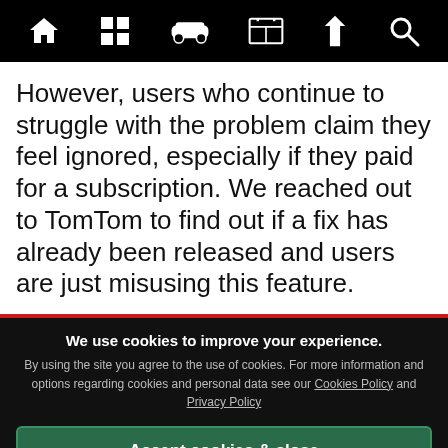[navigation bar with home, grid, car, news, filter, search icons]
However, users who continue to struggle with the problem claim they feel ignored, especially if they paid for a subscription. We reached out to TomTom to find out if a fix has already been released and users are just misusing this feature.
We use cookies to improve your experience. By using the site you agree to the use of cookies. For more information and options regarding cookies and personal data see our Cookies Policy and Privacy Policy
Accept cookies & close
California residents: Do Not Sell My Info